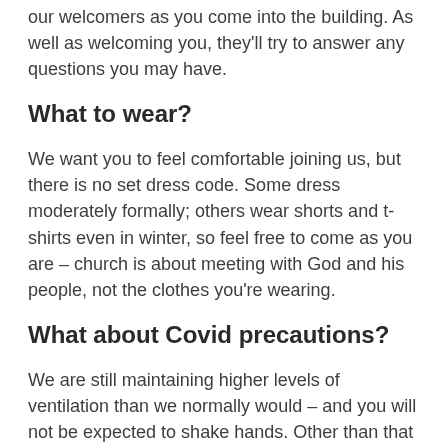our welcomers as you come into the building. As well as welcoming you, they'll try to answer any questions you may have.
What to wear?
We want you to feel comfortable joining us, but there is no set dress code. Some dress moderately formally; others wear shorts and t-shirts even in winter, so feel free to come as you are – church is about meeting with God and his people, not the clothes you're wearing.
What about Covid precautions?
We are still maintaining higher levels of ventilation than we normally would – and you will not be expected to shake hands. Other than that we are largely back to normal for our 10.45am and 6.30pm services.